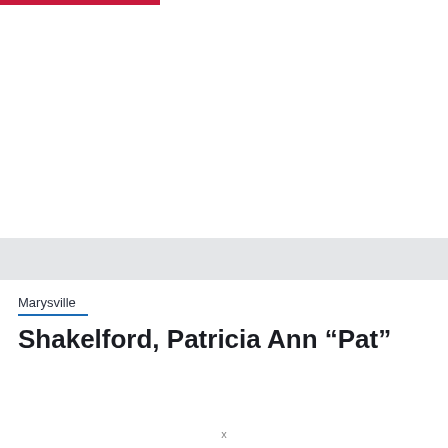Marysville
Shakelford, Patricia Ann “Pat”
x